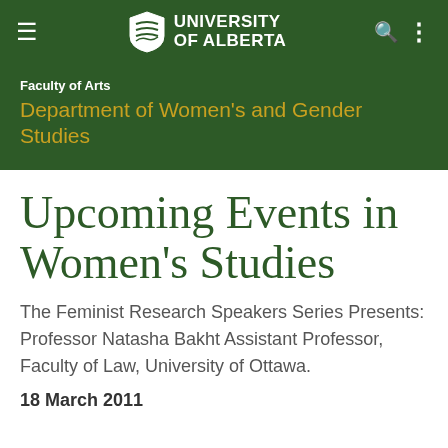UNIVERSITY OF ALBERTA
Faculty of Arts
Department of Women's and Gender Studies
Upcoming Events in Women's Studies
The Feminist Research Speakers Series Presents: Professor Natasha Bakht Assistant Professor, Faculty of Law, University of Ottawa.
18 March 2011